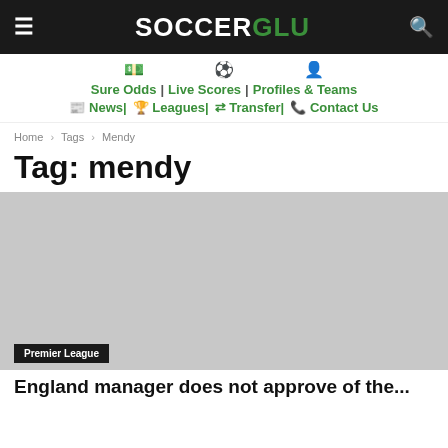SOCCERGLU
Sure Odds | Live Scores | Profiles & Teams
News| Leagues| Transfer| Contact Us
Home › Tags › Mendy
Tag: mendy
Premier League
England manager does not approve of the...